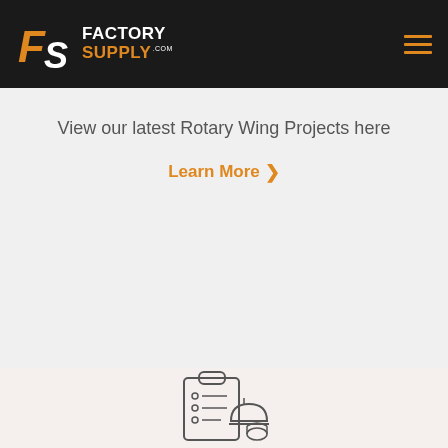[Figure (logo): Factory Supply .com logo with FS monogram in orange and white on dark background, with hamburger menu icon]
View our latest Rotary Wing Projects here
Learn More >
[Figure (illustration): Clipboard with checklist and hard hat icon illustration, outline style]